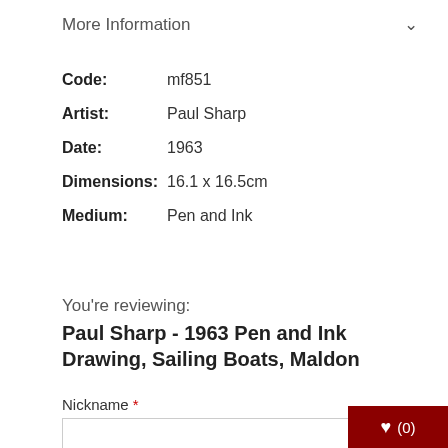More Information
Code:  mf851
Artist:  Paul Sharp
Date:  1963
Dimensions:  16.1 x 16.5cm
Medium:  Pen and Ink
You're reviewing:
Paul Sharp - 1963 Pen and Ink Drawing, Sailing Boats, Maldon
Nickname *
Summary *